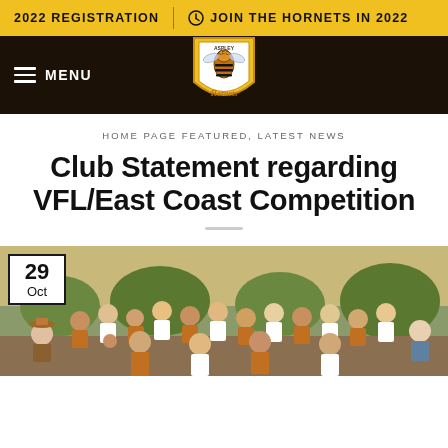2022 REGISTRATION | JOIN THE HORNETS IN 2022
[Figure (logo): Aspley AFC Hornets logo - yellow and brown shield with hornet mascot]
HOME PAGE FEATURED, LATEST NEWS
Club Statement regarding VFL/East Coast Competition
[Figure (photo): Group photo of Aspley Hornets football team celebrating, players in brown and gold jerseys, outdoor setting]
29 Oct